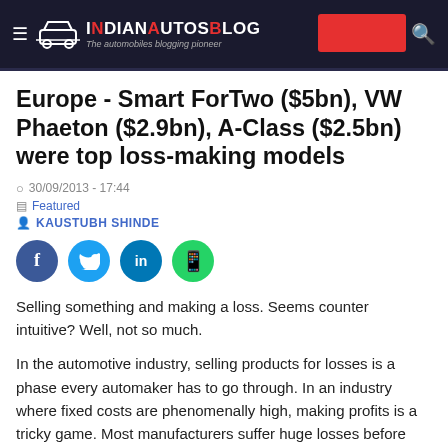IndianAutosBlog — The automobiles blogging pioneer
Europe - Smart ForTwo ($5bn), VW Phaeton ($2.9bn), A-Class ($2.5bn) were top loss-making models
30/09/2013 - 17:44
Featured
KAUSTUBH SHINDE
[Figure (infographic): Social share buttons: Facebook (blue circle with f), Twitter (teal circle with bird), LinkedIn (blue circle with in), WhatsApp (green circle with phone icon)]
Selling something and making a loss. Seems counter intuitive? Well, not so much.
In the automotive industry, selling products for losses is a phase every automaker has to go through. In an industry where fixed costs are phenomenally high, making profits is a tricky game. Most manufacturers suffer huge losses before finally turning pink.